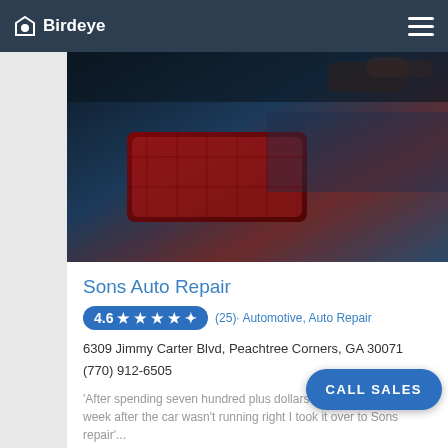Birdeye
[Figure (photo): Close-up photo of a car's rear/tail light area, dark tones with red/brown reflections]
Sons Auto Repair
4.6 ★★★★✦ (25) · Automotive, Auto Repair
6309 Jimmy Carter Blvd, Peachtree Corners, GA 30071
(770) 912-6505
'After spending seven hundred plus dollars to have the car fixed a week after the car wasn't running right I took it over to Sons repair'...
[Figure (photo): Close-up photo of a car hood/chrome detail with warm lighting]
CALL SALES